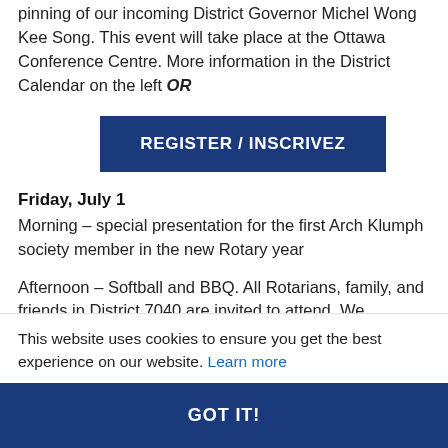pinning of our incoming District Governor Michel Wong Kee Song. This event will take place at the Ottawa Conference Centre. More information in the District Calendar on the left OR
REGISTER / INSCRIVEZ
Friday, July 1
Morning – special presentation for the first Arch Klumph society member in the new Rotary year
Afternoon – Softball and BBQ. All Rotarians, family, and friends in District 7040 are invited to attend. We
This website uses cookies to ensure you get the best experience on our website. Learn more
GOT IT!